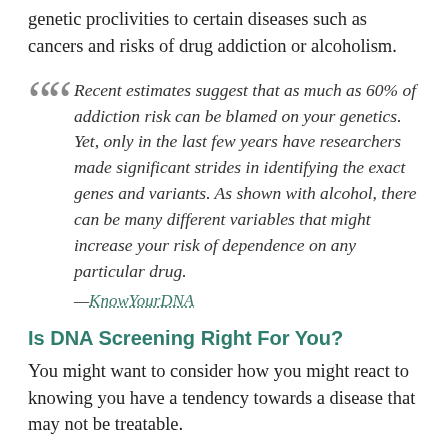genetic proclivities to certain diseases such as cancers and risks of drug addiction or alcoholism.
Recent estimates suggest that as much as 60% of addiction risk can be blamed on your genetics. Yet, only in the last few years have researchers made significant strides in identifying the exact genes and variants. As shown with alcohol, there can be many different variables that might increase your risk of dependence on any particular drug. —KnowYourDNA
Is DNA Screening Right For You?
You might want to consider how you might react to knowing you have a tendency towards a disease that may not be treatable.
Pharmaceutical companies have been promoting potential diseases for some time (e.g., pre-diabetes). I'm concerned that this screening may be more beneficial to